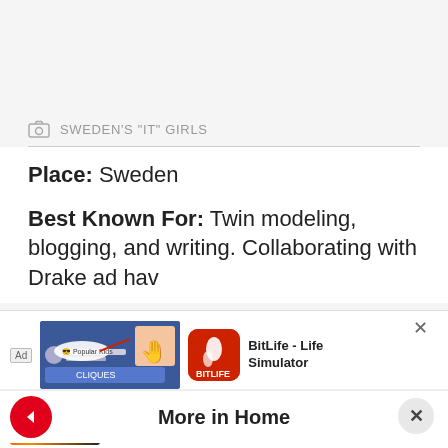SWEDEN'S “IT” GIRLS
Place: Sweden
Best Known For: Twin modeling, blogging, and writing. Collaborating with Drake ad hav
[Figure (screenshot): Advertisement banner showing 'You can't sit with us' ad with BitLife - Life Simulator app icon]
More in Home
Red Cars Are More Likely To End Up In Accidents